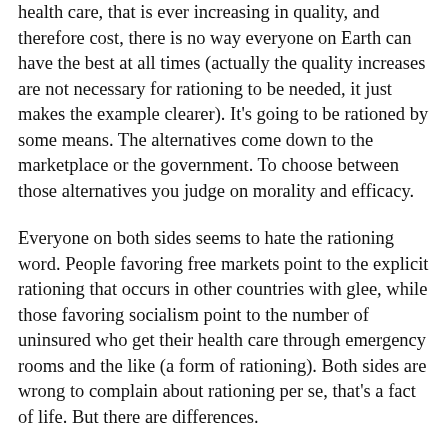health care, that is ever increasing in quality, and therefore cost, there is no way everyone on Earth can have the best at all times (actually the quality increases are not necessary for rationing to be needed, it just makes the example clearer). It's going to be rationed by some means. The alternatives come down to the marketplace or the government. To choose between those alternatives you judge on morality and efficacy.
Everyone on both sides seems to hate the rationing word. People favoring free markets point to the explicit rationing that occurs in other countries with glee, while those favoring socialism point to the number of uninsured who get their health care through emergency rooms and the like (a form of rationing). Both sides are wrong to complain about rationing per se, that's a fact of life. But there are differences.
It is an uncomfortable truth that tough choices will have to be made. There is no system that provides for unlimited wants with limited resources. Our choice is whether it should be rationed by free people making their own economic calculations or by a bureaucracy run by Congressional committee (whose members, like the Russian commissars